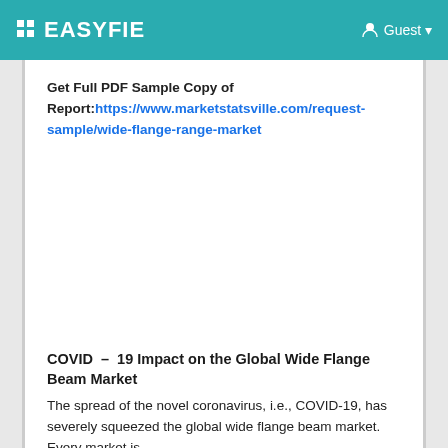EASYFIE — Guest
Get Full PDF Sample Copy of Report:https://www.marketstatsville.com/request-sample/wide-flange-range-market
COVID – 19 Impact on the Global Wide Flange Beam Market
The spread of the novel coronavirus, i.e., COVID-19, has severely squeezed the global wide flange beam market. Every market is